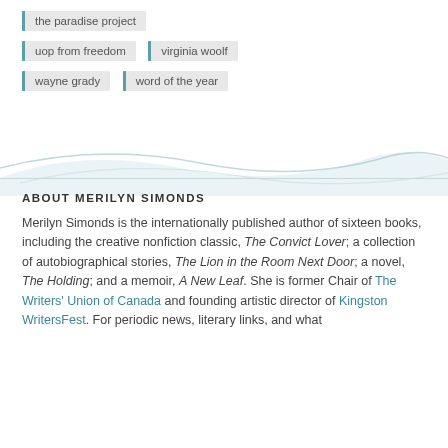the paradise project
uop from freedom
virginia woolf
wayne grady
word of the year
[Figure (illustration): Decorative wave/curve design in light teal/blue tones serving as a section divider]
ABOUT MERILYN SIMONDS
Merilyn Simonds is the internationally published author of sixteen books, including the creative nonfiction classic, The Convict Lover; a collection of autobiographical stories, The Lion in the Room Next Door; a novel, The Holding; and a memoir, A New Leaf. She is former Chair of The Writers' Union of Canada and founding artistic director of Kingston WritersFest. For periodic news, literary links, and what